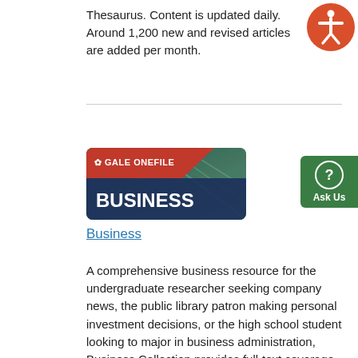Thesaurus. Content is updated daily. Around 1,200 new and revised articles are added per month.
[Figure (logo): Gale OneFile Business database logo — red diagonal banner with 'GALE ONEFILE' text, dark blue background with 'BUSINESS' in bold white text, overlaid on a photo of a modern building interior with glass ceiling]
[Figure (other): Green 'Ask Us' button with question mark circle icon on the right edge]
Business
A comprehensive business resource for the undergraduate researcher seeking company news, the public library patron making personal investment decisions, or the high school student looking to major in business administration, Business Collection provides full-text coverage of all business disciplines